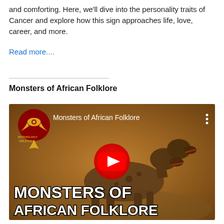and comforting. Here, we'll dive into the personality traits of Cancer and explore how this sign approaches life, love, career, and more.
Read more....
Monsters of African Folklore
[Figure (screenshot): YouTube video thumbnail for 'Monsters of African Folklore' showing a creature resembling a hyena with multiple heads, a Mythology Unleashed channel logo in the top left, a red YouTube play button in the center, and the title text 'MONSTERS OF AFRICAN FOLKLORE' in bold white text at the bottom.]